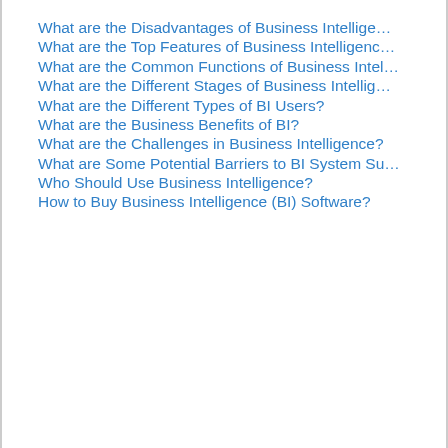What are the Disadvantages of Business Intellige…
What are the Top Features of Business Intelligenc…
What are the Common Functions of Business Intel…
What are the Different Stages of Business Intellig…
What are the Different Types of BI Users?
What are the Business Benefits of BI?
What are the Challenges in Business Intelligence?
What are Some Potential Barriers to BI System Su…
Who Should Use Business Intelligence?
How to Buy Business Intelligence (BI) Software?